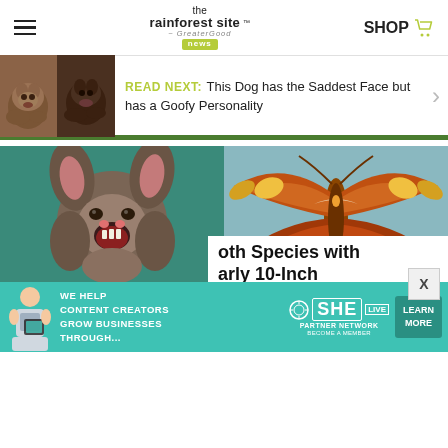the rainforest site — GreaterGood — news | SHOP
READ NEXT: This Dog has the Saddest Face but has a Goofy Personality
[Figure (photo): Two brown Labrador dogs side by side]
[Figure (photo): Close-up of a small bat with open mouth showing teeth]
[Figure (photo): Large Atlas moth with nearly 10-inch wingspan displayed on blue surface]
oth Species with arly 10-Inch ngspan Spotted Washington rate
[Figure (photo): Advertisement: SHE Media Partner Network — We Help Content Creators Grow Businesses Through... Learn More]